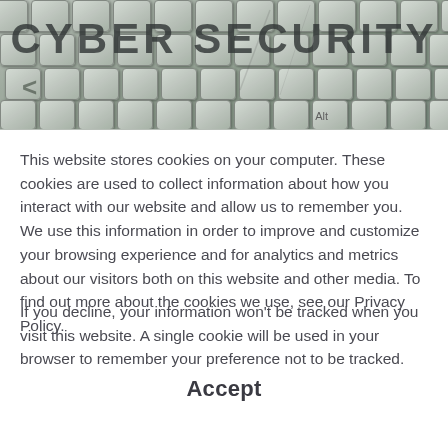[Figure (photo): Photograph of a computer keyboard with the text CYBER SECURITY overlaid in large bold dark letters across the keys, with a slight green digital tint.]
This website stores cookies on your computer. These cookies are used to collect information about how you interact with our website and allow us to remember you. We use this information in order to improve and customize your browsing experience and for analytics and metrics about our visitors both on this website and other media. To find out more about the cookies we use, see our Privacy Policy.
If you decline, your information won't be tracked when you visit this website. A single cookie will be used in your browser to remember your preference not to be tracked.
Accept